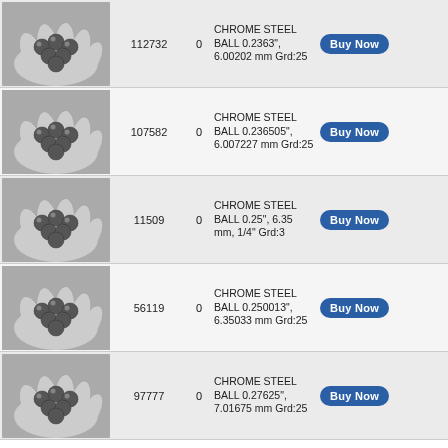| Image | Part# | Qty | Description | Action |
| --- | --- | --- | --- | --- |
| [hand with balls] | 112732 | 0 | CHROME STEEL BALL 0.2363", 6.00202 mm Grd:25 | Buy Now |
| [hand with balls] | 107582 | 0 | CHROME STEEL BALL 0.236505", 6.007227 mm Grd:25 | Buy Now |
| [hand with balls] | 11509 | 0 | CHROME STEEL BALL 0.25", 6.35 mm, 1/4" Grd:3 | Buy Now |
| [hand with balls] | 56119 | 0 | CHROME STEEL BALL 0.250013", 6.35033 mm Grd:25 | Buy Now |
| [hand with balls] | 97777 | 0 | CHROME STEEL BALL 0.27625", 7.01675 mm Grd:25 | Buy Now |